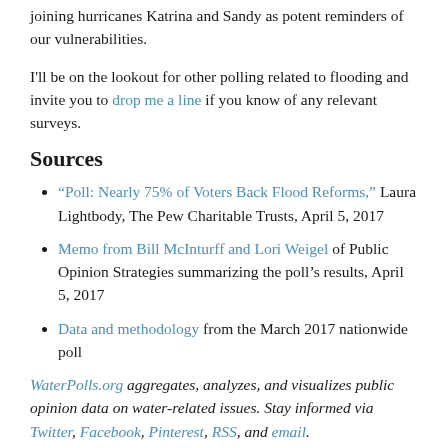joining hurricanes Katrina and Sandy as potent reminders of our vulnerabilities.
I'll be on the lookout for other polling related to flooding and invite you to drop me a line if you know of any relevant surveys.
Sources
“Poll: Nearly 75% of Voters Back Flood Reforms,” Laura Lightbody, The Pew Charitable Trusts, April 5, 2017
Memo from Bill McInturff and Lori Weigel of Public Opinion Strategies summarizing the poll’s results, April 5, 2017
Data and methodology from the March 2017 nationwide poll
WaterPolls.org aggregates, analyzes, and visualizes public opinion data on water-related issues. Stay informed via Twitter, Facebook, Pinterest, RSS, and email.